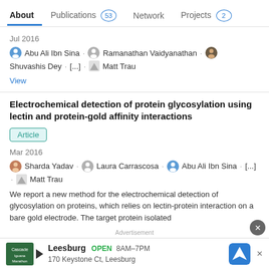About   Publications 53   Network   Projects 2
Jul 2016
Abu Ali Ibn Sina · Ramanathan Vaidyanathan · Shuvashis Dey · [...] · Matt Trau
View
Electrochemical detection of protein glycosylation using lectin and protein-gold affinity interactions
Article
Mar 2016
Sharda Yadav · Laura Carrascosa · Abu Ali Ibn Sina · [...] · Matt Trau
We report a new method for the electrochemical detection of glycosylation on proteins, which relies on lectin-protein interaction on a bare gold electrode. The target protein isolated